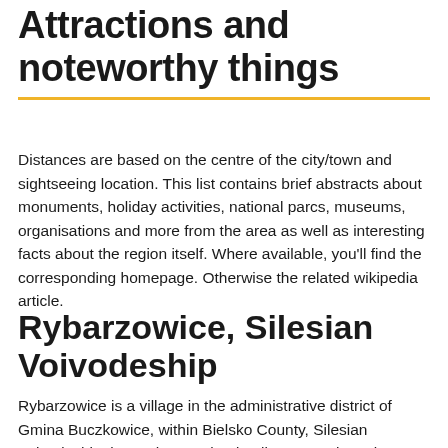Attractions and noteworthy things
Distances are based on the centre of the city/town and sightseeing location. This list contains brief abstracts about monuments, holiday activities, national parcs, museums, organisations and more from the area as well as interesting facts about the region itself. Where available, you'll find the corresponding homepage. Otherwise the related wikipedia article.
Rybarzowice, Silesian Voivodeship
Rybarzowice is a village in the administrative district of Gmina Buczkowice, within Bielsko County, Silesian Voivodeship, in southern Poland. It lies approximately 3 kilometres east of Buczkowice, 12 km south of Bielsko-